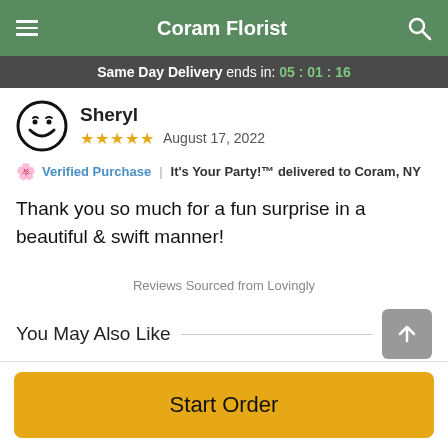Coram Florist
Same Day Delivery ends in: 05 : 01 : 16
Sheryl
★★★★★ August 17, 2022
Verified Purchase | It's Your Party!™ delivered to Coram, NY
Thank you so much for a fun surprise in a beautiful & swift manner!
Reviews Sourced from Lovingly
You May Also Like
Start Order